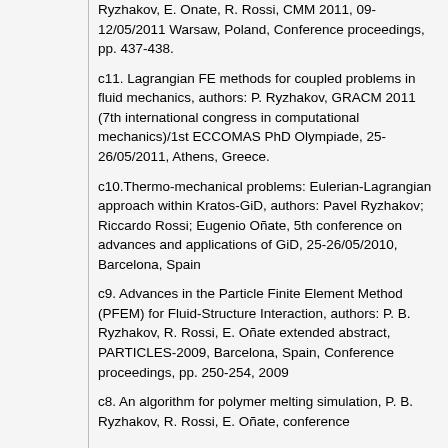Ryzhakov, E. Onate, R. Rossi, CMM 2011, 09-12/05/2011 Warsaw, Poland, Conference proceedings, pp. 437-438.
c11. Lagrangian FE methods for coupled problems in fluid mechanics, authors: P. Ryzhakov, GRACM 2011 (7th international congress in computational mechanics)/1st ECCOMAS PhD Olympiade, 25-26/05/2011, Athens, Greece.
c10.Thermo-mechanical problems: Eulerian-Lagrangian approach within Kratos-GiD, authors: Pavel Ryzhakov; Riccardo Rossi; Eugenio Oñate, 5th conference on advances and applications of GiD, 25-26/05/2010, Barcelona, Spain
c9. Advances in the Particle Finite Element Method (PFEM) for Fluid-Structure Interaction, authors: P. B. Ryzhakov, R. Rossi, E. Oñate extended abstract, PARTICLES-2009, Barcelona, Spain, Conference proceedings, pp. 250-254, 2009
c8. An algorithm for polymer melting simulation, P. B. Ryzhakov, R. Rossi, E. Oñate, conference